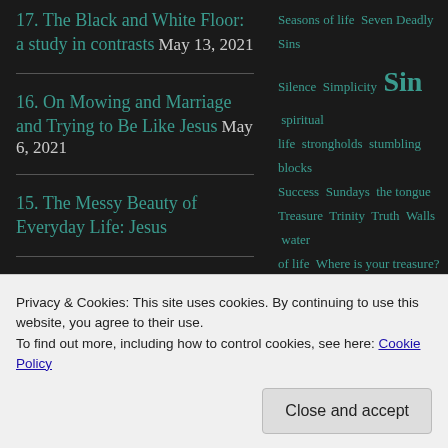17. The Black and White Floor: a study in contrasts May 13, 2021
16. On Mowing and Marriage and Trying to Be Like Jesus May 6, 2021
15. The Messy Beauty of Everyday Life: Jesus
Seasons of life Seven Deadly Sins Silence Simplicity Sin spiritual life strongholds stumbling blocks Success Sundays the tongue Treasure Trinity Truth Walls water of life Where is your treasure?
Privacy & Cookies: This site uses cookies. By continuing to use this website, you agree to their use.
To find out more, including how to control cookies, see here: Cookie Policy
Close and accept